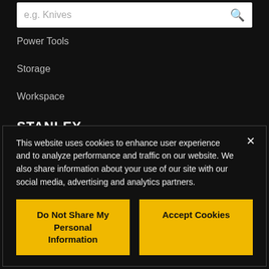e.g. Knives
Power Tools
Storage
Workspace
STANLEY
About Us
This website uses cookies to enhance user experience and to analyze performance and traffic on our website. We also share information about your use of our site with our social media, advertising and analytics partners.
Do Not Share My Personal Information
Accept Cookies